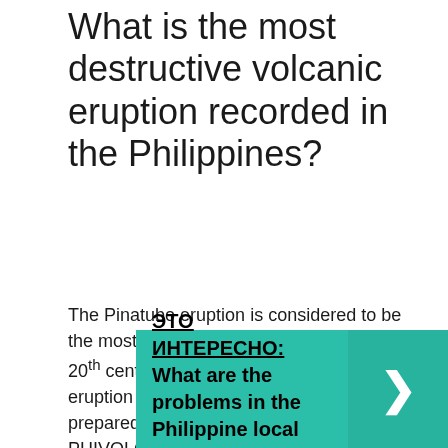What is the most destructive volcanic eruption recorded in the Philippines?
The Pinatubo eruption is considered to be the most powerful volcanic eruption of the 20th century. Thankfully, it was also the eruption that the Philippines was most prepared for, thanks to the joint efforts of the PHIVOLCS and the United States Geological Survey.
ЭТО ИНТЕРЕСНО:  What are the problems in the Philippine local history?